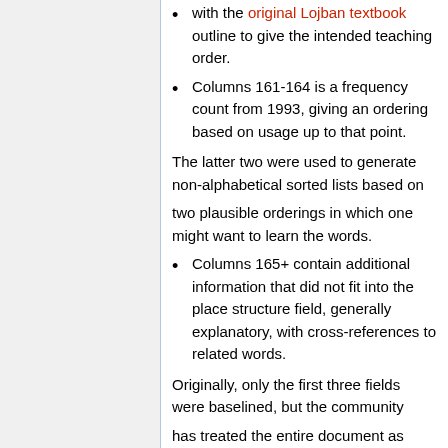with the original Lojban textbook outline to give the intended teaching order.
Columns 161-164 is a frequency count from 1993, giving an ordering based on usage up to that point.
The latter two were used to generate non-alphabetical sorted lists based on two plausible orderings in which one might want to learn the words.
Columns 165+ contain additional information that did not fit into the place structure field, generally explanatory, with cross-references to related words.
Originally, only the first three fields were baselined, but the community has treated the entire document as